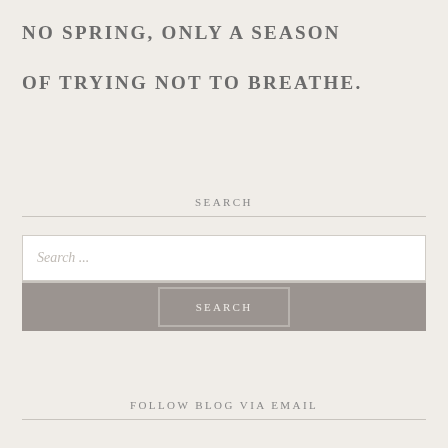NO SPRING, ONLY A SEASON
OF TRYING NOT TO BREATHE.
SEARCH
[Figure (other): Search input field with placeholder text 'Search ...' and a grey SEARCH button below]
FOLLOW BLOG VIA EMAIL